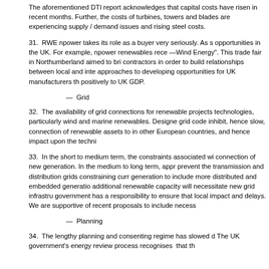The aforementioned DTI report acknowledges that capital costs have risen in recent months. Further, the costs of turbines, towers and blades are experiencing supply / demand issues and rising steel costs.
31.  RWE npower takes its role as a buyer very seriously. As such it actively promotes opportunities in the UK. For example, npower renewables recently sponsored a trade fair —Wind Energy". This trade fair in Northumberland aimed to bring together suppliers and contractors in order to build relationships between local and international suppliers, and approaches to developing opportunities for UK manufacturers that could contribute positively to UK GDP.
—  Grid
32.  The availability of grid connections for renewable projects is critical for all technologies, particularly wind and marine renewables. Designed for conventional plant, grid code inhibit, hence slow, connection of renewable assets to the grid to levels prevalent in other European countries, and hence impact upon the techni
33.  In the short to medium term, the constraints associated with connection of new generation. In the medium to long term, approaches that prevent the transmission and distribution grids constraining current and future generation to include more distributed and embedded generation. The scale of additional renewable capacity will necessitate new grid infrastructure. We believe that government has a responsibility to ensure that local impact and planning do not cause delays. We are supportive of recent proposals to include necess
—  Planning
34.  The lengthy planning and consenting regime has slowed development. The UK government's energy review process recognises that th